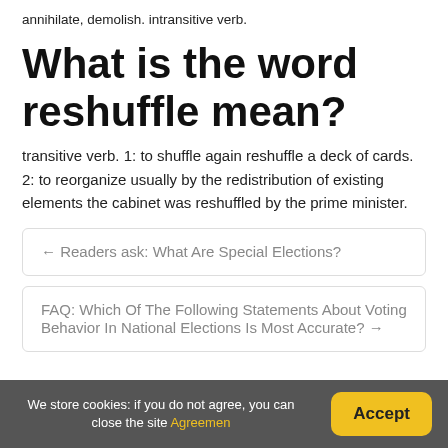annihilate, demolish. intransitive verb.
What is the word reshuffle mean?
transitive verb. 1: to shuffle again reshuffle a deck of cards. 2: to reorganize usually by the redistribution of existing elements the cabinet was reshuffled by the prime minister.
← Readers ask: What Are Special Elections?
FAQ: Which Of The Following Statements About Voting Behavior In National Elections Is Most Accurate? →
We store cookies: if you do not agree, you can close the site Agreemen